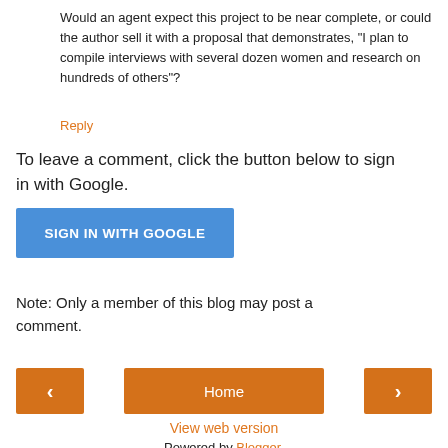Would an agent expect this project to be near complete, or could the author sell it with a proposal that demonstrates, "I plan to compile interviews with several dozen women and research on hundreds of others"?
Reply
To leave a comment, click the button below to sign in with Google.
[Figure (other): Blue button labeled SIGN IN WITH GOOGLE]
Note: Only a member of this blog may post a comment.
[Figure (other): Navigation bar with left arrow button, Home button, and right arrow button]
View web version
Powered by Blogger.